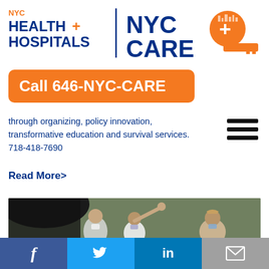[Figure (logo): NYC Health + Hospitals logo and NYC Care+ logo side by side with a vertical divider]
Call 646-NYC-CARE
through organizing, policy innovation, transformative education and survival services.
718-418-7690
Read More>
[Figure (photo): People wearing masks outdoors, one person pointing upward with arm raised, others looking at documents under an umbrella]
f  [Twitter bird]  in  [envelope]